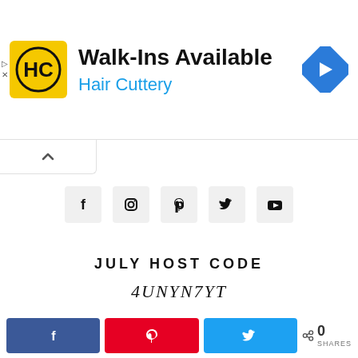[Figure (infographic): Hair Cuttery advertisement banner with yellow HC logo, 'Walk-Ins Available' headline, 'Hair Cuttery' subtitle in blue, and a blue directional arrow icon on the right]
[Figure (infographic): Social media icons row: Facebook, Instagram, Pinterest, Twitter, YouTube in light gray square buttons]
JULY HOST CODE
4UNYN7YT
STAMPIN' UP! 2022 HOLIDAY MINI CATALOG
[Figure (infographic): Share buttons bar: Facebook (blue), Pinterest (red), Twitter (blue), and share count showing 0 SHARES]